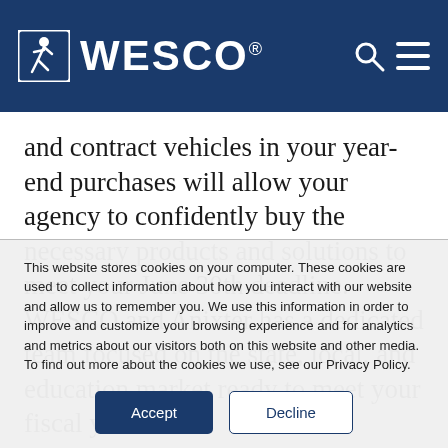WESCO
and contract vehicles in your year-end purchases will allow your agency to confidently buy the necessary products and solutions to meet your June 30th deadline. WESCO and Anixter has a dedicated team focused on the state, local, and education market ready to meet your fiscal year-
This website stores cookies on your computer. These cookies are used to collect information about how you interact with our website and allow us to remember you. We use this information in order to improve and customize your browsing experience and for analytics and metrics about our visitors both on this website and other media. To find out more about the cookies we use, see our Privacy Policy.
Accept | Decline